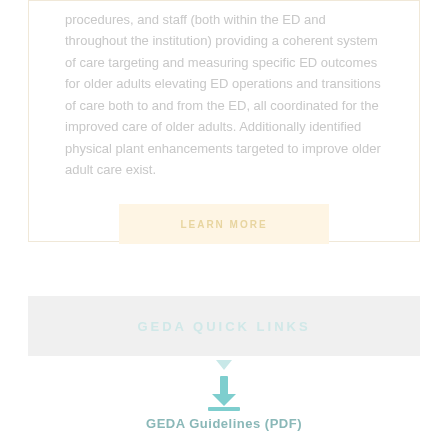procedures, and staff (both within the ED and throughout the institution) providing a coherent system of care targeting and measuring specific ED outcomes for older adults elevating ED operations and transitions of care both to and from the ED, all coordinated for the improved care of older adults. Additionally identified physical plant enhancements targeted to improve older adult care exist.
LEARN MORE
GEDA QUICK LINKS
GEDA Guidelines (PDF)